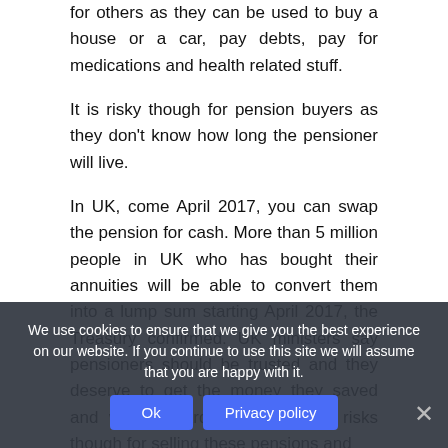for others as they can be used to buy a house or a car, pay debts, pay for medications and health related stuff.
It is risky though for pension buyers as they don't know how long the pensioner will live.
In UK, come April 2017, you can swap the pension for cash. More than 5 million people in UK who has bought their annuities will be able to convert them into a lump sum starting April 2017, the Treasury confirmed. UK ministers say pensioners should be trusted and they deserve to get the money they saved and worked hard for. There are risks though for selling these pensions and
As of today, people ... annuities ...
We use cookies to ensure that we give you the best experience on our website. If you continue to use this site we will assume that you are happy with it.